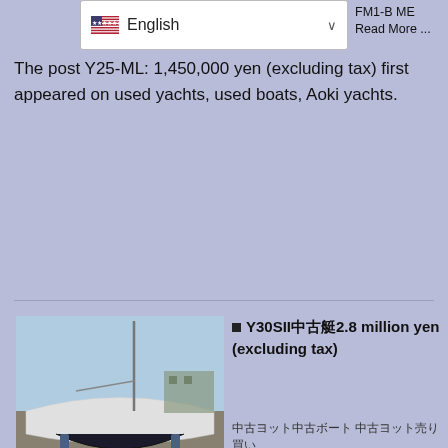[Figure (screenshot): Language selector dropdown showing US flag and 'English' text with dropdown arrow]
FM1-B ME Read More ... The post Y25-ML: 1,450,000 yen (excluding tax) first appeared on used yachts, used boats, Aoki yachts.
[Figure (photo): Photograph of a white sailing yacht hull out of water on supports in a boatyard]
Y30SII中古艇2.8 million yen (excluding tax)
中古ヨット中古ボート 中古ヨット売り買い 中古ヨット売買 YAMAHA Read More ... The post Y30SII中古艇 280万円税別 first appeared on 中古ヨット中古ボート売買.
[Figure (photo): Photograph of a boat or marine equipment]
ヤマハ24日本EX高馬力96馬力エンジン搭載艇